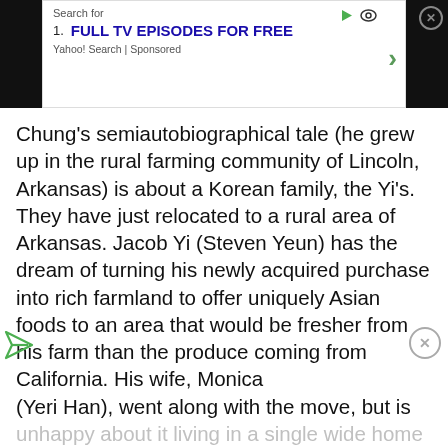[Figure (screenshot): Yahoo Search sponsored ad bar showing 'Search for 1. FULL TV EPISODES FOR FREE' with arrow and Yahoo! Search | Sponsored label]
Chung's semiautobiographical tale (he grew up in the rural farming community of Lincoln, Arkansas) is about a Korean family, the Yi's. They have just relocated to a rural area of Arkansas. Jacob Yi (Steven Yeun) has the dream of turning his newly acquired purchase into rich farmland to offer uniquely Asian foods to an area that would be fresher from his farm than the produce coming from California. His wife, Monica (Yeri Han), went along with the move, but is unhappy about it living in a single wide home that's elevated off the ground by cinder blocks and no stairs.